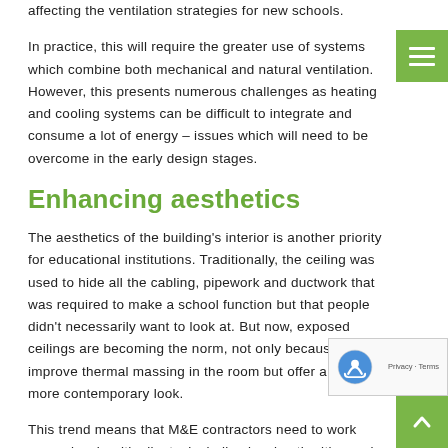affecting the ventilation strategies for new schools.
In practice, this will require the greater use of systems which combine both mechanical and natural ventilation. However, this presents numerous challenges as heating and cooling systems can be difficult to integrate and consume a lot of energy – issues which will need to be overcome in the early design stages.
Enhancing aesthetics
The aesthetics of the building's interior is another priority for educational institutions. Traditionally, the ceiling was used to hide all the cabling, pipework and ductwork that was required to make a school function but that people didn't necessarily want to look at. But now, exposed ceilings are becoming the norm, not only because they improve thermal massing in the room but offer a much more contemporary look.
This trend means that M&E contractors need to work more closely with clients, including local authorities and main